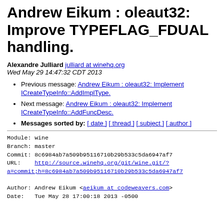Andrew Eikum : oleaut32: Improve TYPEFLAG_FDUAL handling.
Alexandre Julliard julliard at winehq.org
Wed May 29 14:47:32 CDT 2013
Previous message: Andrew Eikum : oleaut32: Implement ICreateTypeInfo::AddImplType.
Next message: Andrew Eikum : oleaut32: Implement ICreateTypeInfo::AddFuncDesc.
Messages sorted by: [ date ] [ thread ] [ subject ] [ author ]
Module: wine
Branch: master
Commit: 8c6984ab7a509b95116710b29b533c5da6947af7
URL:    http://source.winehq.org/git/wine.git/?a=commit;h=8c6984ab7a509b95116710b29b533c5da6947af7

Author: Andrew Eikum <aeikum at codeweavers.com>
Date:   Tue May 28 17:00:18 2013 -0500